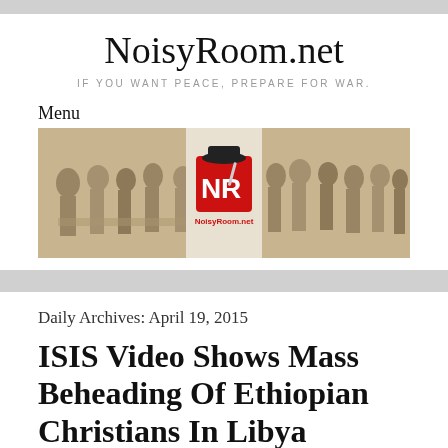NoisyRoom.net
IF YOU WANT PEACE, PREPARE FOR WAR.
Menu
[Figure (illustration): NoisyRoom.net website banner showing historical painting of founding fathers on the left and right, with the NoisyRoom.net logo (NR with a hat) in the center.]
Daily Archives: April 19, 2015
ISIS Video Shows Mass Beheading Of Ethiopian Christians In Libya